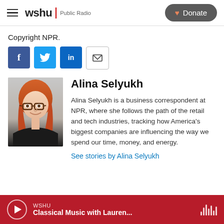wshu | Public Radio  [Donate]
Copyright NPR.
[Figure (other): Social sharing buttons: Facebook, Twitter, LinkedIn, Email]
[Figure (photo): Headshot photo of Alina Selyukh, a woman with red hair and glasses, smiling, wearing a black top]
Alina Selyukh
Alina Selyukh is a business correspondent at NPR, where she follows the path of the retail and tech industries, tracking how America's biggest companies are influencing the way we spend our time, money, and energy.
See stories by Alina Selyukh
WSHU  Classical Music with Lauren...